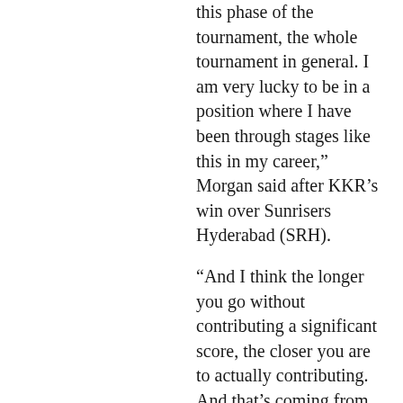this phase of the tournament, the whole tournament in general. I am very lucky to be in a position where I have been through stages like this in my career,” Morgan said after KKR’s win over Sunrisers Hyderabad (SRH).
“And I think the longer you go without contributing a significant score, the closer you are to actually contributing. And that’s coming from experience,” said Morgan, who scored a